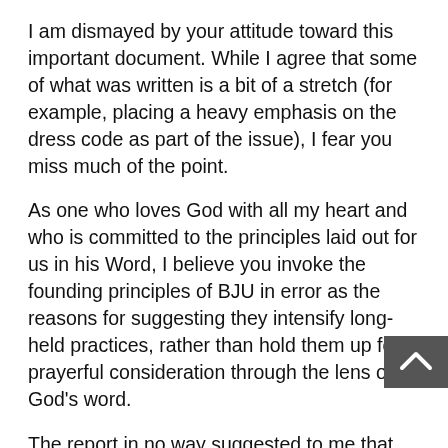I am dismayed by your attitude toward this important document. While I agree that some of what was written is a bit of a stretch (for example, placing a heavy emphasis on the dress code as part of the issue), I fear you miss much of the point.
As one who loves God with all my heart and who is committed to the principles laid out for us in his Word, I believe you invoke the founding principles of BJU in error as the reasons for suggesting they intensify long-held practices, rather than hold them up for prayerful consideration through the lens of God's word.
The report in no way suggested to me that the survey participants or interviewees were counseling the school on anything. They shared their viewpoints, and were honest about where they are in their spiritual life. It is GRACE, through their highly-qualified staff who shared viewpoints, supported by voluminous amounts of scripture, who offered evaluation of what they heard. It's actually a bit